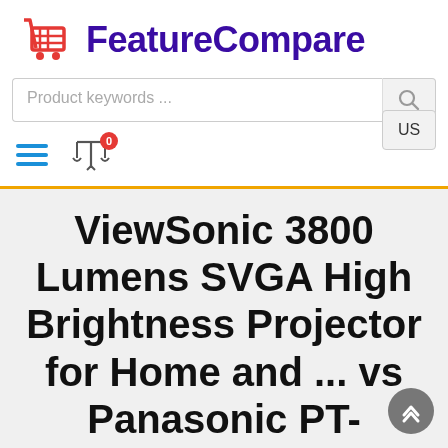FeatureCompare
Product keywords ...
US
ViewSonic 3800 Lumens SVGA High Brightness Projector for Home and ... vs Panasonic PT-VZ585NU 5000lm Wuxga Resolution LCD